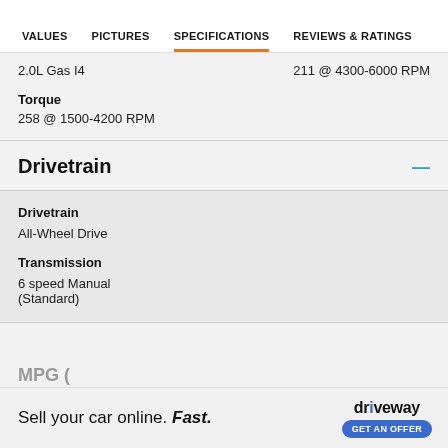VALUES | PICTURES | SPECIFICATIONS | REVIEWS & RATINGS
2.0L Gas I4  211 @ 4300-6000 RPM
Torque
258 @ 1500-4200 RPM
Drivetrain
Drivetrain
All-Wheel Drive
Transmission
6 speed Manual (Standard)
MPG (
Sell your car online. Fast. driveway GET AN OFFER